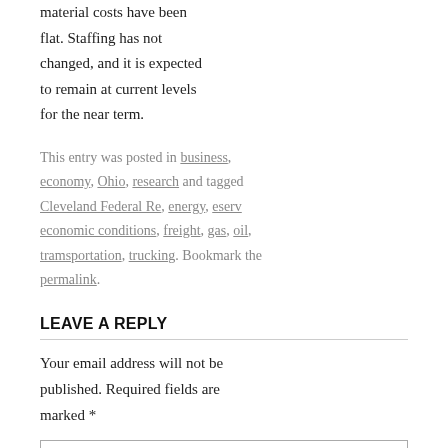material costs have been flat. Staffing has not changed, and it is expected to remain at current levels for the near term.
This entry was posted in business, economy, Ohio, research and tagged Cleveland Federal Re, energy, eserv economic conditions, freight, gas, oil, tramsportation, trucking. Bookmark the permalink.
LEAVE A REPLY
Your email address will not be published. Required fields are marked *